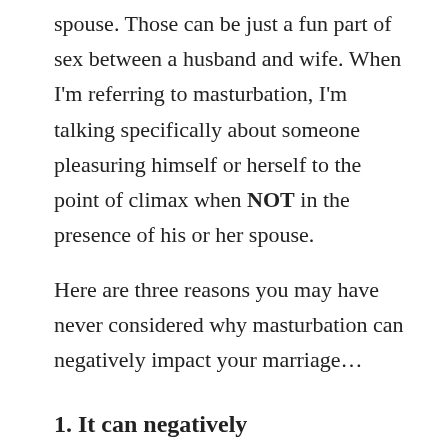spouse. Those can be just a fun part of sex between a husband and wife. When I'm referring to masturbation, I'm talking specifically about someone pleasuring himself or herself to the point of climax when NOT in the presence of his or her spouse.
Here are three reasons you may have never considered why masturbation can negatively impact your marriage...
1. It can negatively